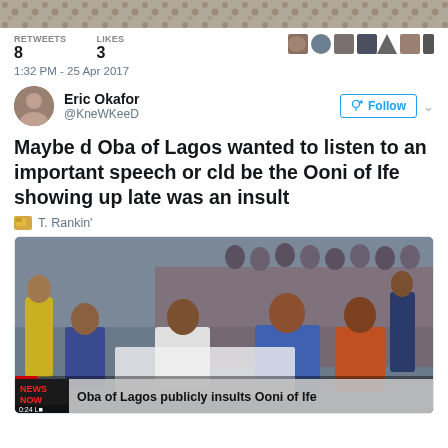[Figure (screenshot): Top portion of a thumbnail image (leopard print or similar pattern)]
RETWEETS 8   LIKES 3
1:32 PM - 25 Apr 2017
[Figure (photo): Profile photo of Eric Okafor (@KneWKeeD)]
Eric Okafor
@KneWKeeD
Maybe d Oba of Lagos wanted to listen to an important speech or cld be the Ooni of Ife showing up late was an insult
T. Rankin'
[Figure (screenshot): News video screenshot showing dignitaries seated in a conference hall. Bottom bar shows NEWS NOW logo and headline: Oba of Lagos publicly insults Ooni of Ife. Duration 0:24.]